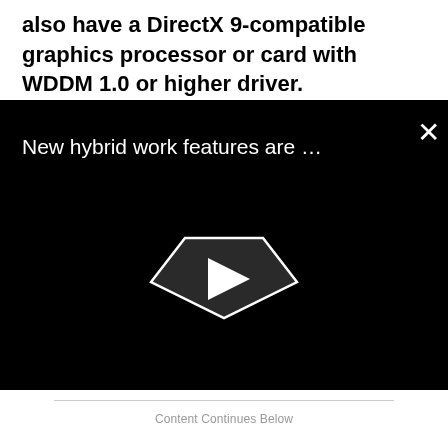also have a DirectX 9-compatible graphics processor or card with WDDM 1.0 or higher driver.
[Figure (screenshot): A video player thumbnail on a black background showing the title 'New hybrid work features are …' with a close button (×) in the top right and a pentagon-shaped play button in the center.]
Content Continues Below